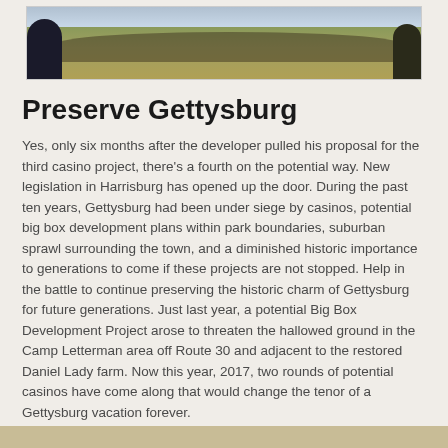[Figure (photo): Wide panoramic photo of a large crowd of people gathered in an open field, likely a historical reenactment or memorial event at Gettysburg, with green and golden grass visible.]
Preserve Gettysburg
Yes, only six months after the developer pulled his proposal for the third casino project, there's a fourth on the potential way. New legislation in Harrisburg has opened up the door. During the past ten years, Gettysburg had been under siege by casinos, potential big box development plans within park boundaries, suburban sprawl surrounding the town, and a diminished historic importance to generations to come if these projects are not stopped. Help in the battle to continue preserving the historic charm of Gettysburg for future generations. Just last year, a potential Big Box Development Project arose to threaten the hallowed ground in the Camp Letterman area off Route 30 and adjacent to the restored Daniel Lady farm. Now this year, 2017, two rounds of potential casinos have come along that would change the tenor of a Gettysburg vacation forever.